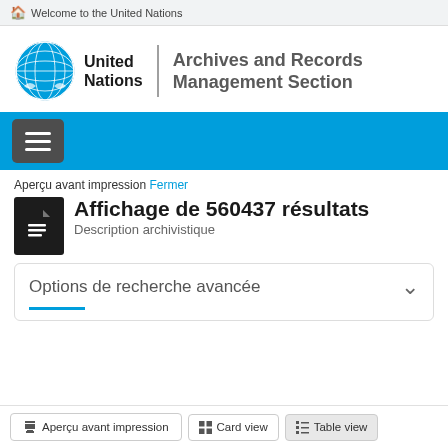Welcome to the United Nations
[Figure (logo): United Nations logo with globe icon and text 'United Nations | Archives and Records Management Section']
Aperçu avant impression Fermer
Affichage de 560437 résultats
Description archivistique
Options de recherche avancée
Aperçu avant impression  Card view  Table view